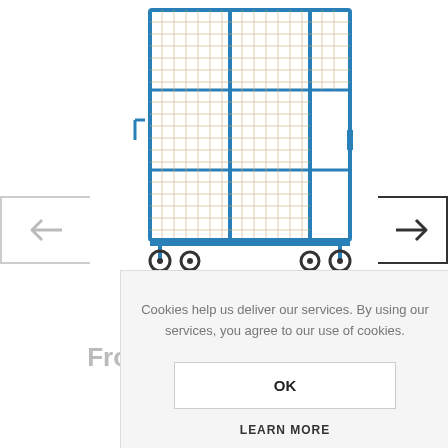[Figure (photo): Blue metal mesh cage trolley/cart with wheels, shown from front angle on white background]
[Figure (other): Left navigation arrow button with gray border]
[Figure (other): Right navigation arrow button with dark border]
Cookies help us deliver our services. By using our services, you agree to our use of cookies.
OK
LEARN MORE
From £690.24 incl VAT
[Figure (other): Share/upload icon with upward arrow inside a bracket frame]